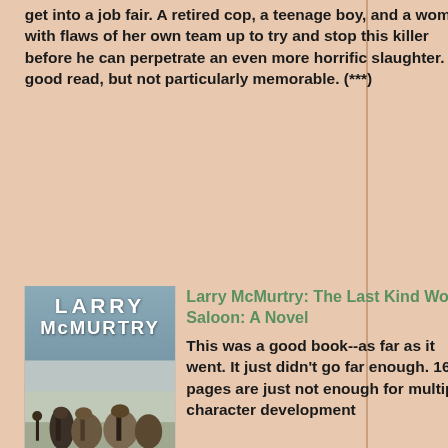get into a job fair. A retired cop, a teenage boy, and a woman with flaws of her own team up to try and stop this killer before he can perpetrate an even more horrific slaughter. A good read, but not particularly memorable. (***)
[Figure (illustration): Book cover of 'The Last Kind Words Saloon' by Larry McMurtry, featuring a dark winter scene with horses and figures, with white block lettering for the author name and title on a blue-grey background.]
Larry McMurtry: The Last Kind Words Saloon: A Novel
This was a good book--as far as it went. It just didn't go far enough. 167 pages are just not enough for multiple character development (if I weren't already familiar with most of these characters, they'd be blank slates) and plot development (what plot?). Granted, the dialog was the usual McMurtry masterpiece, but that's the best I can say for this little book. I was excited to know that this author, one of my favorites, had written a novel about some